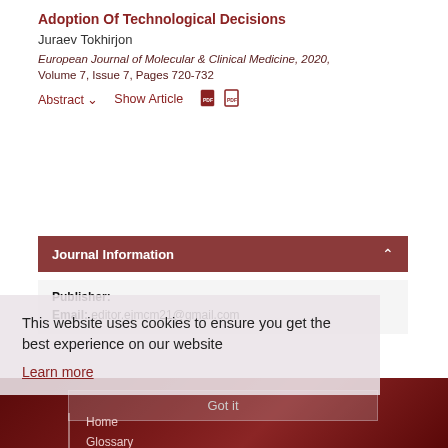Adoption Of Technological Decisions
Juraev Tokhirjon
European Journal of Molecular & Clinical Medicine, 2020, Volume 7, Issue 7, Pages 720-732
Abstract ▾   Show Article
Journal Information
Publisher:
Email: editor.ejmcm21@gmail.com
This website uses cookies to ensure you get the best experience on our website
Learn more
Got it
Home
Glossary